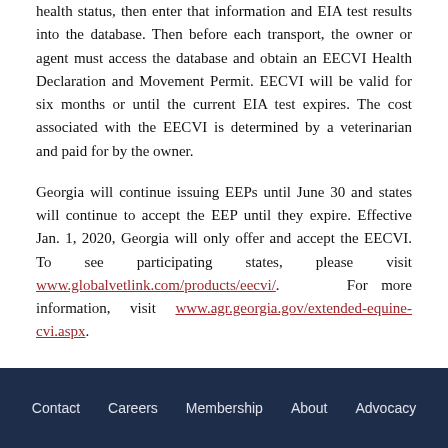health status, then enter that information and EIA test results into the database. Then before each transport, the owner or agent must access the database and obtain an EECVI Health Declaration and Movement Permit. EECVI will be valid for six months or until the current EIA test expires. The cost associated with the EECVI is determined by a veterinarian and paid for by the owner.
Georgia will continue issuing EEPs until June 30 and states will continue to accept the EEP until they expire. Effective Jan. 1, 2020, Georgia will only offer and accept the EECVI. To see participating states, please visit www.globalvetlink.com/products/eecvi/. For more information, visit www.agr.georgia.gov/extended-equine-cvi.aspx.
Contact   Careers   Membership   About   Advocacy